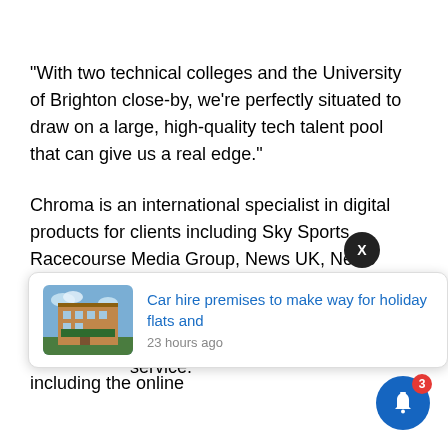“With two technical colleges and the University of Brighton close-by, we’re perfectly situated to draw on a large, high-quality tech talent pool that can give us a real edge.”
Chroma is an international specialist in digital products for clients including Sky Sports, Racecourse Media Group, News UK, News Australia, The Jockey Club, Wimbledon and Channel 4. It recently delivered the design and build of the user interface for Win Cash Live, [a betting] service.
[Figure (screenshot): Notification popup showing a car hire article with a thumbnail of a building, headline 'Car hire premises to make way for holiday flats and', timestamp '23 hours ago'. Also shows a black X close button and a blue bell notification icon with badge showing 3.]
The Chroma Labs creative hub has already unearthed ground-breaking new products including the online